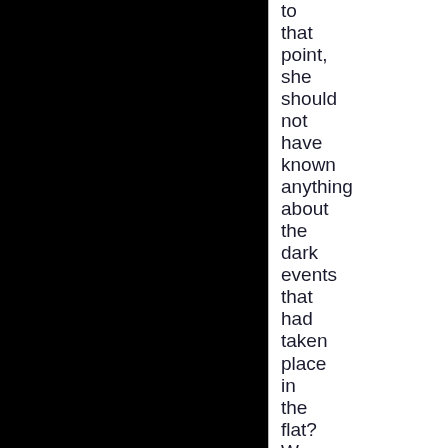to that point, she should not have known anything about the dark events that had taken place in the flat? Were you with her when